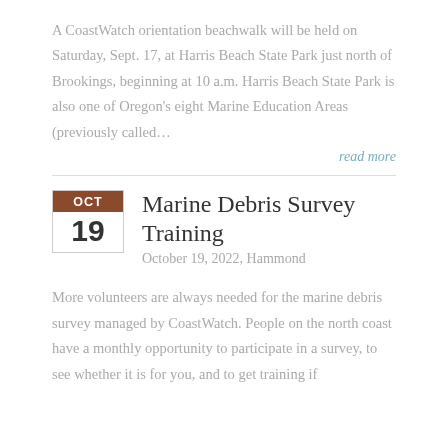A CoastWatch orientation beachwalk will be held on Saturday, Sept. 17, at Harris Beach State Park just north of Brookings, beginning at 10 a.m. Harris Beach State Park is also one of Oregon's eight Marine Education Areas (previously called…
read more
Marine Debris Survey Training
October 19, 2022, Hammond
More volunteers are always needed for the marine debris survey managed by CoastWatch. People on the north coast have a monthly opportunity to participate in a survey, to see whether it is for you, and to get training if